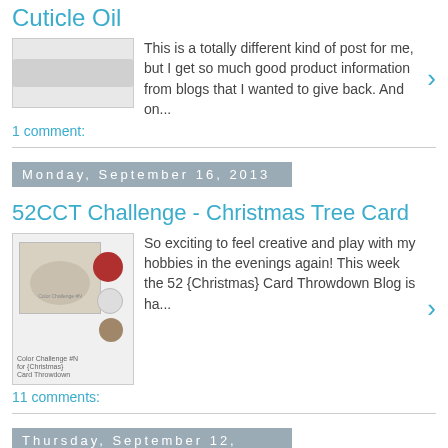Cuticle Oil
This is a totally different kind of post for me, but I get so much good product information from blogs that I wanted to give back.  And on...
1 comment:
Monday, September 16, 2013
52CCT Challenge - Christmas Tree Card
So exciting to feel creative and play with my hobbies in the evenings again! This week the 52 {Christmas} Card Throwdown Blog is ha...
11 comments:
Thursday, September 12, 2013
Fairy Garden with Bunnies
I have seen so many amazingly beautiful and intricate Fairy Gardens around the internet and love looking at them.  But honestly none has s...